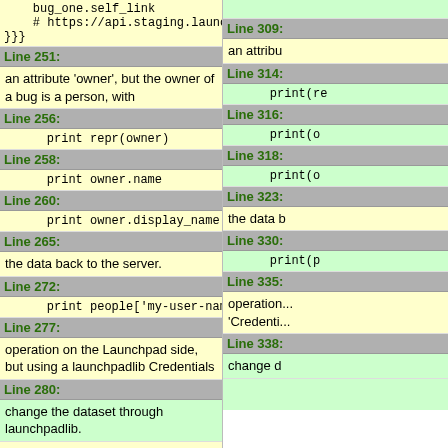| Left column (code/text) | Right column (code/text) |
| --- | --- |
|     bug_one.self_link
    # https://api.staging.launchpad.net/beta/bugs/1
}}} | (right col code, truncated) |
| Line 251: | Line 309: |
| an attribute 'owner', but the owner of a bug is a person, with | an attribu... |
| Line 256: | Line 314: |
|     print repr(owner) |     print(re... |
| Line 258: | Line 316: |
|     print owner.name |     print(o... |
| Line 260: | Line 318: |
|     print owner.display_name |     print(o... |
| Line 265: | Line 323: |
| the data back to the server. | the data b... |
| Line 272: | Line 330: |
|     print people['my-user-name'].display_name |     print(p... |
| Line 277: | Line 335: |
| operation on the Launchpad side, but using a launchpadlib Credentials | operation...
'Credenti... |
| Line 280: | Line 338: |
| change the dataset through launchpadlib. | change d... |
| Some entries also support special operations--see the |  |